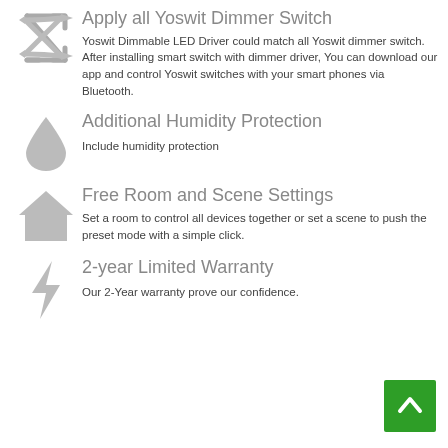Apply all Yoswit Dimmer Switch
Yoswit Dimmable LED Driver could match all Yoswit dimmer switch. After installing smart switch with dimmer driver, You can download our app and control Yoswit switches with your smart phones via Bluetooth.
Additional Humidity Protection
Include humidity protection
Free Room and Scene Settings
Set a room to control all devices together or set a scene to push the preset mode with a simple click.
2-year Limited Warranty
Our 2-Year warranty prove our confidence.
[Figure (illustration): Green back-to-top button with upward chevron arrow]